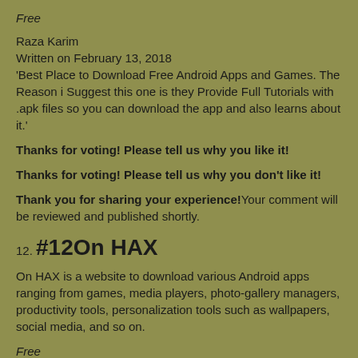Free
Raza Karim
Written on February 13, 2018
'Best Place to Download Free Android Apps and Games. The Reason i Suggest this one is they Provide Full Tutorials with .apk files so you can download the app and also learns about it.'
Thanks for voting! Please tell us why you like it!
Thanks for voting! Please tell us why you don't like it!
Thank you for sharing your experience!Your comment will be reviewed and published shortly.
12. #12On HAX
On HAX is a website to download various Android apps ranging from games, media players, photo-gallery managers, productivity tools, personalization tools such as wallpapers, social media, and so on.
Free